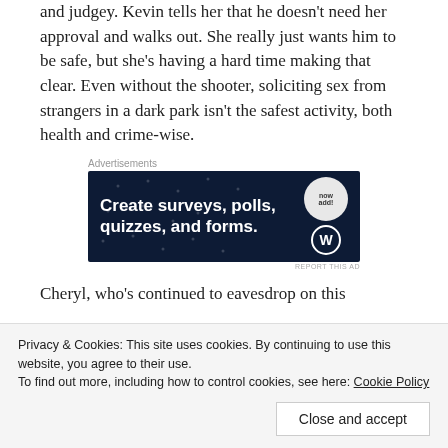and judgey. Kevin tells her that he doesn't need her approval and walks out. She really just wants him to be safe, but she's having a hard time making that clear. Even without the shooter, soliciting sex from strangers in a dark park isn't the safest activity, both health and crime-wise.
[Figure (screenshot): Advertisement banner: dark blue background with text 'Create surveys, polls, quizzes, and forms.' with WordPress logo and a circular badge. 'Advertisements' label above and 'REPORT THIS AD' below.]
Cheryl, who's continued to eavesdrop on this
Privacy & Cookies: This site uses cookies. By continuing to use this website, you agree to their use.
To find out more, including how to control cookies, see here: Cookie Policy
Close and accept